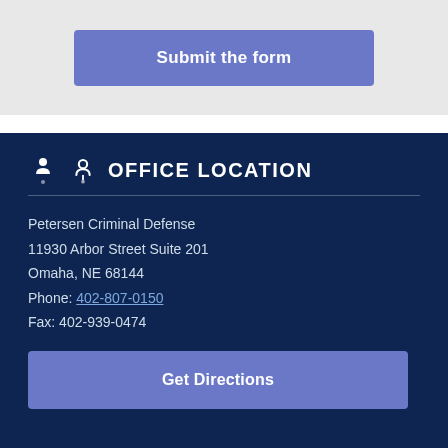Submit the form
OFFICE LOCATION
Petersen Criminal Defense
11930 Arbor Street Suite 201
Omaha, NE 68144
Phone: 402-807-0150
Fax: 402-939-0474
Get Directions